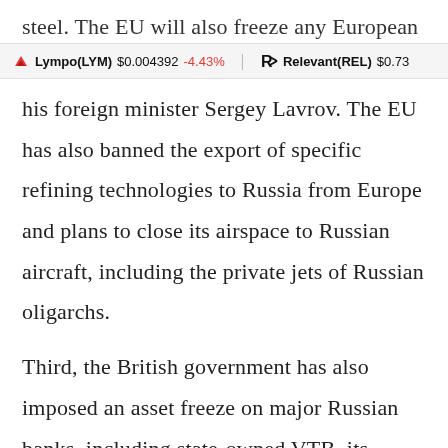steel. The EU will also freeze any European
Lympo(LYM) $0.004392 -4.43%  Relevant(REL) $0.73
his foreign minister Sergey Lavrov. The EU has also banned the export of specific refining technologies to Russia from Europe and plans to close its airspace to Russian aircraft, including the private jets of Russian oligarchs.
Third, the British government has also imposed an asset freeze on major Russian banks, including state-owned VTB, its second biggest bank. It had also stopped major Russian companies from raising finance in the UK